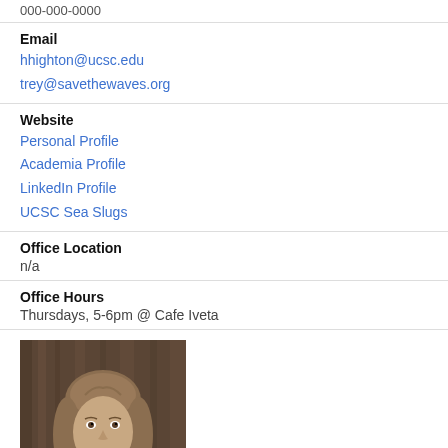000-000-0000
Email
hhighton@ucsc.edu
trey@savethewaves.org
Website
Personal Profile
Academia Profile
LinkedIn Profile
UCSC Sea Slugs
Office Location
n/a
Office Hours
Thursdays, 5-6pm @ Cafe Iveta
[Figure (photo): Headshot of a woman with light brown hair, wearing a dark top, posed against a wooden background]